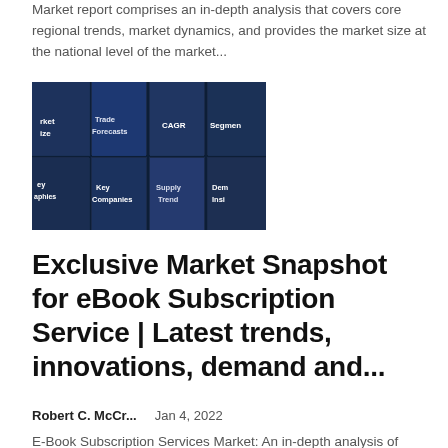Market report comprises an in-depth analysis that covers core regional trends, market dynamics, and provides the market size at the national level of the market...
[Figure (illustration): A 2x4 grid collage of dark blue-tinted images showing market research concepts: Market Size, Trade Forecasts, CAGR, Segments, Key Geographies, Key Companies, Supply Trend, Demand Insights]
Exclusive Market Snapshot for eBook Subscription Service | Latest trends, innovations, demand and...
Robert C. McCr...    Jan 4, 2022
E-Book Subscription Services Market: An in-depth analysis of